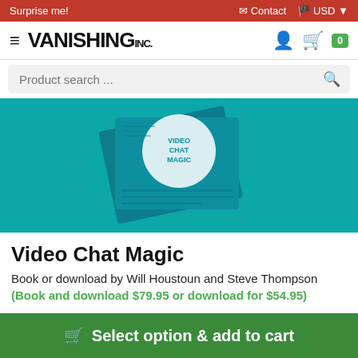Surprise me! | Contact | USD
VANISHING inc. | navigation icons | cart: 0
Product search ...
[Figure (photo): Product photo of Video Chat Magic book on teal background showing book cover with 'VIDEO CHAT MAGIC' text]
Video Chat Magic
Book or download by Will Houstoun and Steve Thompson (Book and download $79.95 or download for $54.95)
Select option & add to cart